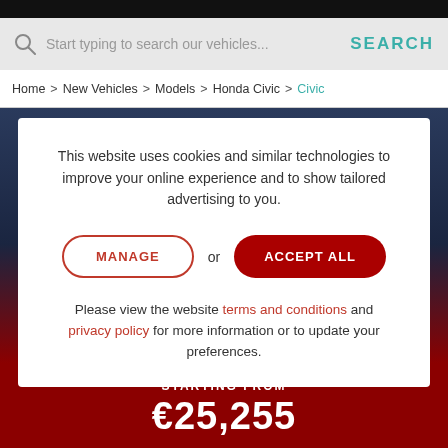Start typing to search our vehicles... SEARCH
Home > New Vehicles > Models > Honda Civic > Civic
This website uses cookies and similar technologies to improve your online experience and to show tailored advertising to you.
MANAGE or ACCEPT ALL
Please view the website terms and conditions and privacy policy for more information or to update your preferences.
STARTING FROM €25,255